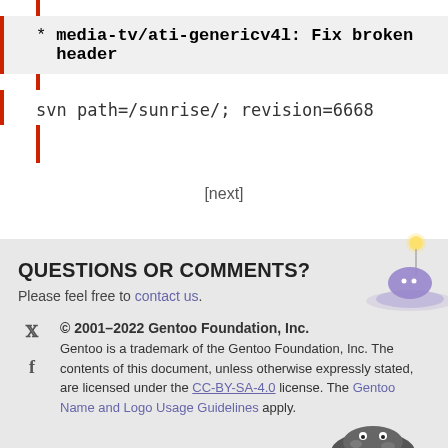* media-tv/ati-genericv4l: Fix broken header
svn path=/sunrise/; revision=6668
[next]
QUESTIONS OR COMMENTS?
Please feel free to contact us.
© 2001–2022 Gentoo Foundation, Inc. Gentoo is a trademark of the Gentoo Foundation, Inc. The contents of this document, unless otherwise expressly stated, are licensed under the CC-BY-SA-4.0 license. The Gentoo Name and Logo Usage Guidelines apply.